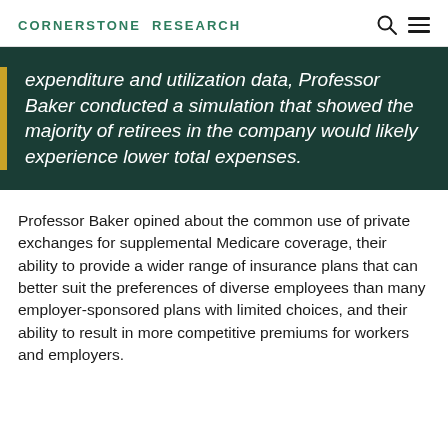CORNERSTONE RESEARCH
expenditure and utilization data, Professor Baker conducted a simulation that showed the majority of retirees in the company would likely experience lower total expenses.
Professor Baker opined about the common use of private exchanges for supplemental Medicare coverage, their ability to provide a wider range of insurance plans that can better suit the preferences of diverse employees than many employer-sponsored plans with limited choices, and their ability to result in more competitive premiums for workers and employers.